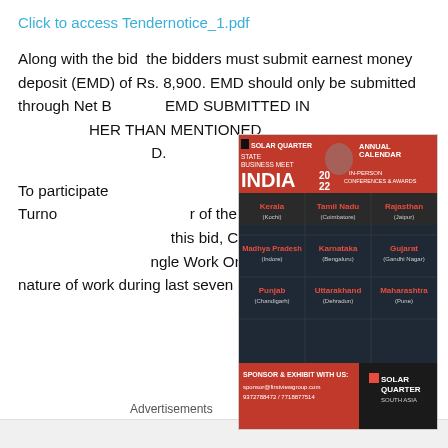Click to access Tendernotice_1.pdf
Along with the bid  the bidders must submit earnest money deposit (EMD) of Rs. 8,900. EMD should only be submitted through Net Banking. EMD SUBMITTED IN ANY OTHER MODE OTHER THAN MENTIONED ABOVE WILL NOT BE ACCEPTED AS EMD.
[Figure (infographic): Solar Quarter State Business Meet India 2022 advertisement showing locations: Kerala (Kochi), Tamil Nadu (Coimbatore), Rajasthan (Jaipur), Madhya Pradesh (Indore), Karnataka (Bengaluru), Gujarat (Gandhi Nagar), Punjab (Chandigarh), Uttarakhand (Dehradun), Maharashtra (Pune). Includes Annual Calendar 2022, In-Person Conferences & Awards, sponsor contact info.]
To participate, bidders should have Minimum Annual Turnover of Rs. [amount] of the last three preceding financial years prior to this bid, Company/Firm should have executed at least Single Work Order executed for similar nature of work during last seven
Advertisements